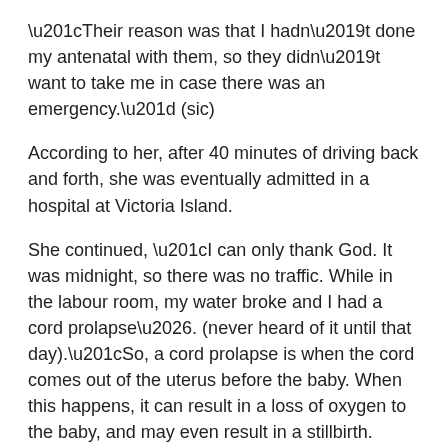“Their reason was that I hadn’t done my antenatal with them, so they didn’t want to take me in case there was an emergency.” (sic)
According to her, after 40 minutes of driving back and forth, she was eventually admitted in a hospital at Victoria Island.
She continued, “I can only thank God. It was midnight, so there was no traffic. While in the labour room, my water broke and I had a cord prolapse…. (never heard of it until that day).“So, a cord prolapse is when the cord comes out of the uterus before the baby. When this happens, it can result in a loss of oxygen to the baby, and may even result in a stillbirth.
“But God was gracious; he was kind, he didn’t let the devil win…. When I saw the doctor and nurses panic, I knew something was wrong. In that moment of fear, I